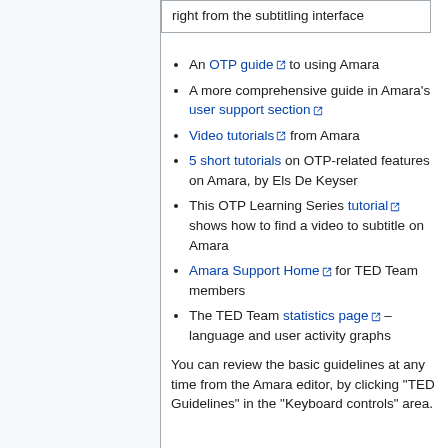right from the subtitling interface
An OTP guide to using Amara
A more comprehensive guide in Amara's user support section
Video tutorials from Amara
5 short tutorials on OTP-related features on Amara, by Els De Keyser
This OTP Learning Series tutorial shows how to find a video to subtitle on Amara
Amara Support Home for TED Team members
The TED Team statistics page – language and user activity graphs
You can review the basic guidelines at any time from the Amara editor, by clicking "TED Guidelines" in the "Keyboard controls" area.